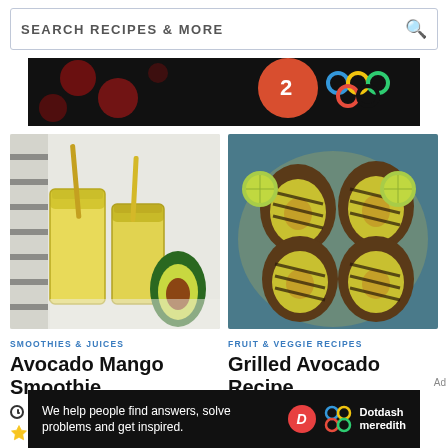[Figure (screenshot): Search bar with text SEARCH RECIPES & MORE and magnifying glass icon]
[Figure (photo): Advertisement banner with dark background showing red circular dots and Olympic rings logo]
[Figure (photo): Photo of two glasses of yellow avocado mango smoothie with straws and halved avocado on white marble surface]
SMOOTHIES & JUICES
Avocado Mango Smoothie
5 MINS
[Figure (infographic): 4 out of 5 gold stars rating]
[Figure (photo): Photo of grilled avocado halves on a dark plate with lime slices on blue background]
FRUIT & VEGGIE RECIPES
Grilled Avocado Recipe
9 MINS
[Figure (infographic): 5 out of 5 gold stars rating]
[Figure (screenshot): Dotdash Meredith advertisement banner: We help people find answers, solve problems and get inspired.]